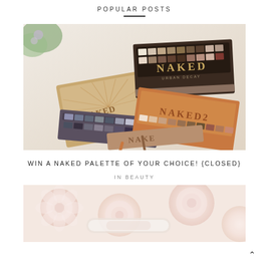POPULAR POSTS
[Figure (photo): Flat lay photo of multiple Urban Decay Naked eyeshadow palettes including Naked, Naked2, Naked3, and Naked Heat arranged on a white surface with a plant in the background]
WIN A NAKED PALETTE OF YOUR CHOICE! {CLOSED}
IN BEAUTY
[Figure (photo): Close-up photo of pink/cream roses with what appears to be a clear cosmetic product in the foreground]